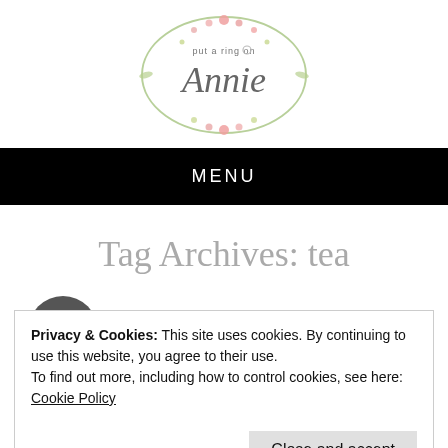[Figure (logo): Put a Ring on Annie blog logo — oval floral wreath with script text 'put a ring on Annie' and a small ring icon]
MENU
Tag Archives: tea
Privacy & Cookies: This site uses cookies. By continuing to use this website, you agree to their use.
To find out more, including how to control cookies, see here: Cookie Policy
Close and accept